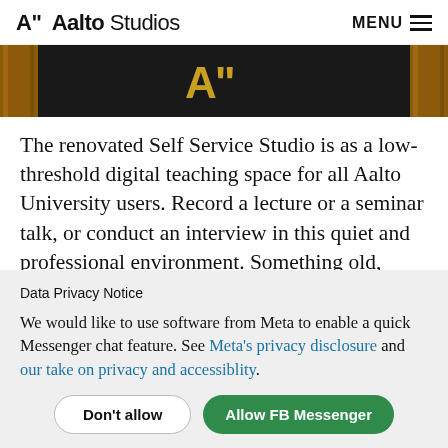A" Aalto Studios  MENU
[Figure (photo): Close-up photo of a dark wall/sign with a golden A" logo (Aalto Studios branding), framed by wooden panels on the sides.]
The renovated Self Service Studio is as a low-threshold digital teaching space for all Aalto University users. Record a lecture or a seminar talk, or conduct an interview in this quiet and professional environment. Something old, plenty
Data Privacy Notice
We would like to use software from Meta to enable a quick Messenger chat feature. See Meta's privacy disclosure and our take on privacy and accessiblity.
Don't allow   Allow FB Messenger